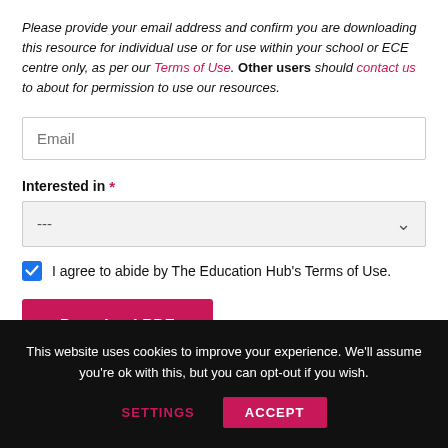Please provide your email address and confirm you are downloading this resource for individual use or for use within your school or ECE centre only, as per our Terms of Use. Other users should contact us to about for permission to use our resources.
[Figure (screenshot): Email input field with placeholder text 'Email']
Interested in *
[Figure (screenshot): Dropdown selector showing '---' with chevron arrow]
I agree to abide by The Education Hub's Terms of Use.
[Figure (screenshot): Download PDF button in pink/magenta color]
This website uses cookies to improve your experience. We'll assume you're ok with this, but you can opt-out if you wish.